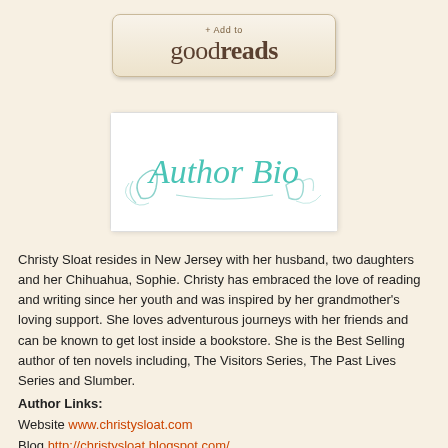[Figure (logo): Goodreads '+ Add to goodreads' button with beige/cream gradient background and brown text]
[Figure (illustration): Author Bio decorative script text in teal/turquoise cursive lettering with swirl flourishes on white background]
Christy Sloat resides in New Jersey with her husband, two daughters and her Chihuahua, Sophie. Christy has embraced the love of reading and writing since her youth and was inspired by her grandmother's loving support. She loves adventurous journeys with her friends and can be known to get lost inside a bookstore. She is the Best Selling author of ten novels including, The Visitors Series, The Past Lives Series and Slumber.
Author Links:
Website www.christysloat.com
Blog http://christysloat.blogspot.com/